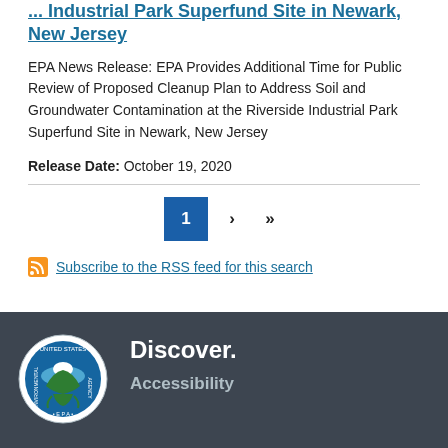... Industrial Park Superfund Site in Newark, New Jersey
EPA News Release: EPA Provides Additional Time for Public Review of Proposed Cleanup Plan to Address Soil and Groundwater Contamination at the Riverside Industrial Park Superfund Site in Newark, New Jersey
Release Date: October 19, 2020
Pagination: 1 > >>
Subscribe to the RSS feed for this search
Discover. Accessibility